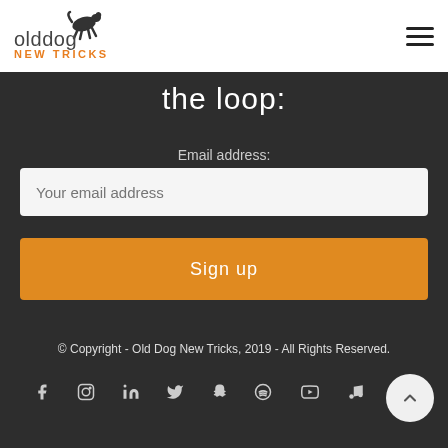[Figure (logo): Old Dog New Tricks logo with running dog silhouette icon, text 'olddog' in dark gray and 'NEW TRICKS' in orange]
the loop:
Email address:
Your email address
Sign up
© Copyright - Old Dog New Tricks, 2019 - All Rights Reserved.
[Figure (infographic): Row of social media icons: Facebook, Instagram, LinkedIn, Twitter, Snapchat, Spotify, YouTube, Music/Apple]